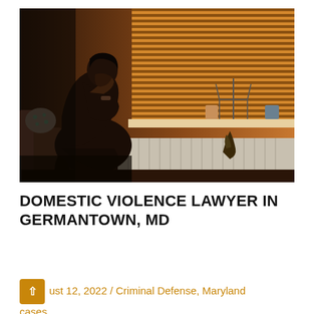[Figure (photo): A person sitting hunched over in distress, hands covering face, in a dimly lit room with wooden venetian blinds in the background letting in warm light. Various decorative items on a windowsill including a candelabra. The scene conveys emotional distress associated with domestic violence.]
DOMESTIC VIOLENCE LAWYER IN GERMANTOWN, MD
August 12, 2022 / Criminal Defense, Maryland cases